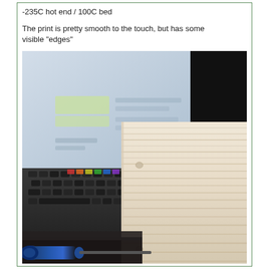-235C hot end / 100C bed
The print is pretty smooth to the touch, but has some visible "edges"
[Figure (photo): Close-up photograph of a 3D printed object with visible layer lines, cream/beige colored, held up in front of a blurred computer monitor and keyboard background. The print shows horizontal striations (layer edges). A blue screwdriver is visible in the foreground.]